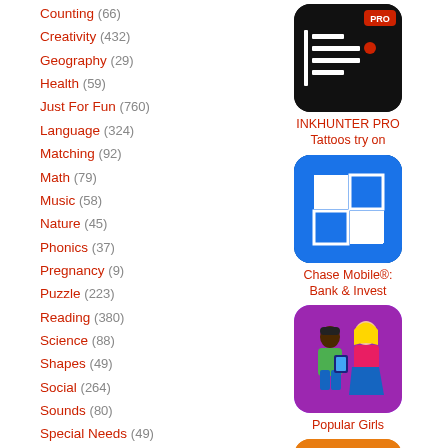Counting (66)
Creativity (432)
Geography (29)
Health (59)
Just For Fun (760)
Language (324)
Matching (92)
Math (79)
Music (58)
Nature (45)
Phonics (37)
Pregnancy (9)
Puzzle (223)
Reading (380)
Science (88)
Shapes (49)
Social (264)
Sounds (80)
Special Needs (49)
Spelling (30)
Stories (327)
Time (6)
Sponsor Messages (20)
Sponsored Posts (582)
[Figure (screenshot): INKHUNTER PRO app icon - black background with white form-like lines and a red dot, PRO badge in top right]
INKHUNTER PRO Tattoos try on
[Figure (screenshot): Chase Mobile app icon - blue background with white Chase logo (octagon shape)]
Chase Mobile®: Bank & Invest
[Figure (screenshot): Popular Girls app icon - two cartoon characters on purple background]
Popular Girls
[Figure (screenshot): MM+ Diet & app icon - orange background with mm+ text]
MМacros+ | Diet &